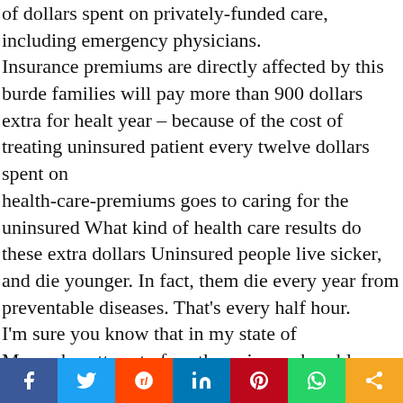of dollars spent on privately-funded care, including emergency physicians. Insurance premiums are directly affected by this burden – families will pay more than 900 dollars extra for health care this year – because of the cost of treating uninsured patients. One of every twelve dollars spent on health-care-premiums goes to caring for the uninsured. What kind of health care results do these extra dollars buy? Uninsured people live sicker, and die younger. In fact, 18,000 of them die every year from preventable diseases. That's one person every half hour. I'm sure you know that in my state of Massachusetts, a law was passed to face the uninsured problem head on. No more band-aids. The Massachusetts plan is very similar to the strategy championed by the AMA. Over the last decade, we've been pushing a plan that would insure every person in this country for much less cost than...
[Figure (infographic): Social media sharing bar at the bottom with Facebook, Twitter, Reddit, LinkedIn, Pinterest, WhatsApp, and Share buttons]